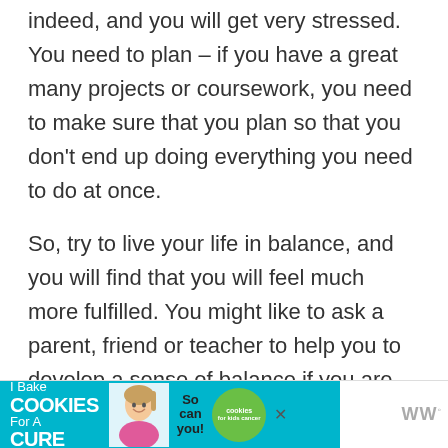indeed, and you will get very stressed. You need to plan – if you have a great many projects or coursework, you need to make sure that you plan so that you don't end up doing everything you need to do at once.
So, try to live your life in balance, and you will find that you will feel much more fulfilled. You might like to ask a parent, friend or teacher to help you to develop a sense of balance if you are struggling to do so. They might be able to help you work out what is
[Figure (infographic): Advertisement banner: 'I Bake COOKIES For A CURE' with photo of a girl (Haidora, 11 Cancer Survivor), 'So can you!' text, cookies for kids cancer logo, and a close button. Wunderman (WW) logo on the right.]